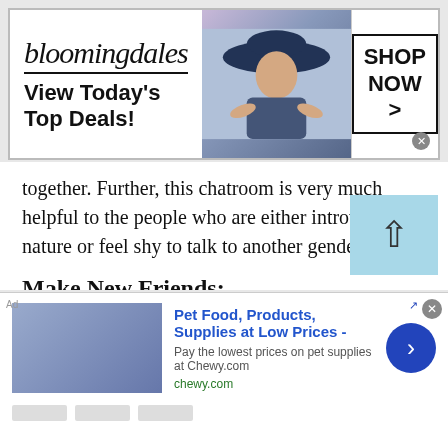[Figure (other): Bloomingdales advertisement banner with logo, 'View Today's Top Deals!' tagline, model in hat, and 'SHOP NOW >' button]
together. Further, this chatroom is very much helpful to the people who are either introverted by nature or feel shy to talk to another gender.
Make New Friends:
The world has now become a global village. Everything is interconnected when you chat with people of Kyrgyzstan or any other. As compared to the early days of technology, when making new friends over different nationalities was just a fantasy,
[Figure (other): Chewy.com advertisement: Pet Food, Products, Supplies at Low Prices - Pay the lowest prices on pet supplies at Chewy.com]